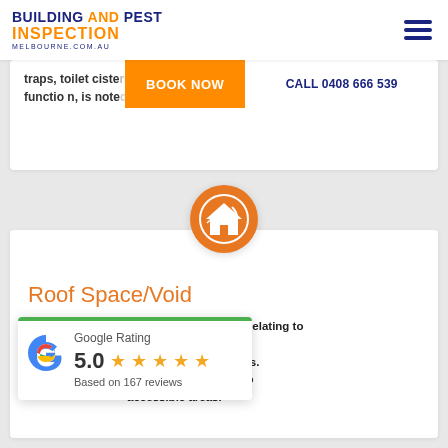BUILDING AND PEST INSPECTION MELBOURNE.COM.AU
traps, toilet cisterns function, is noted
BOOK NOW
CALL 0408 666 539
[Figure (logo): Orange circle with white house/roof icon]
Roof Space/Void
In the roof space we identify any issues relating to wall and sarking. We ion, even in new homes. ation we try our best to accessible areas.
[Figure (infographic): Google Rating card showing 5.0 stars based on 167 reviews with Google G logo]